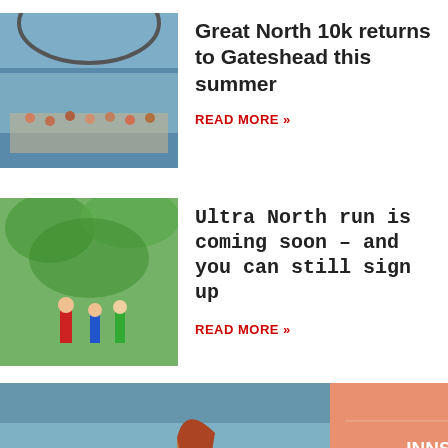[Figure (photo): Outdoor running event near a bridge, crowd of runners]
Great North 10k returns to Gateshead this summer
READ MORE »
[Figure (photo): Trail runners in a green woodland area]
Ultra North run is coming soon – and you can still sign up
READ MORE »
[Figure (photo): Woman with red hair standing at a railing overlooking a river, advertisement overlay for INNSiDE by Meliá Newcastle]
Stay Curious.
INNSiDE by Meliã Newcastle
Opening soon
INNSiDE BY MELIÃ